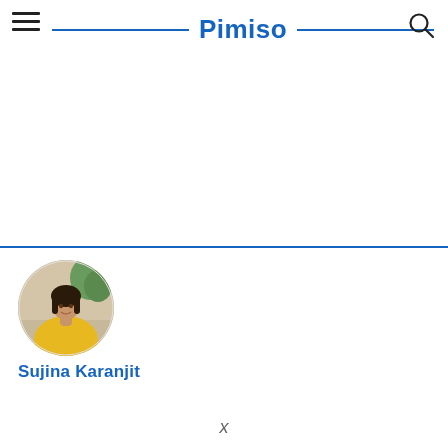Pimiso
[Figure (photo): Circular profile photo of a woman with long dark hair wearing a yellow top, seated in what appears to be an indoor setting with greenery in the background.]
Sujina Karanjit